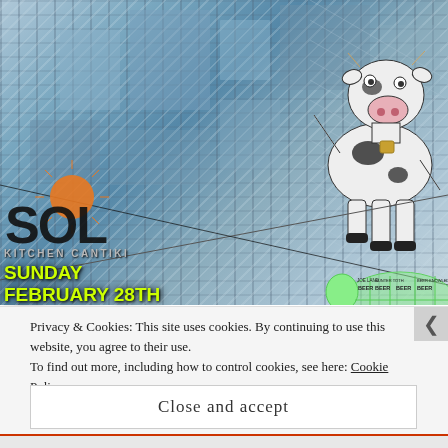[Figure (illustration): Screenshot of a website showing an event advertisement for Local Sol Kitchen Cantiki. Background features an aerial city view with a 3D cartoon cow character standing on a tightrope/wire. The left side has the Local Sol logo with sun graphic, event details in yellow-green text, and a green cow anatomy diagram showing beer-labeled cuts.]
KITCHEN CANTIKI
SUNDAY
FEBRUARY 28TH
1PM
LOCAL SOL
38257 GLENN AVE
WILLOUGHBY OH 44094
Privacy & Cookies: This site uses cookies. By continuing to use this website, you agree to their use.
To find out more, including how to control cookies, see here: Cookie Policy
Close and accept